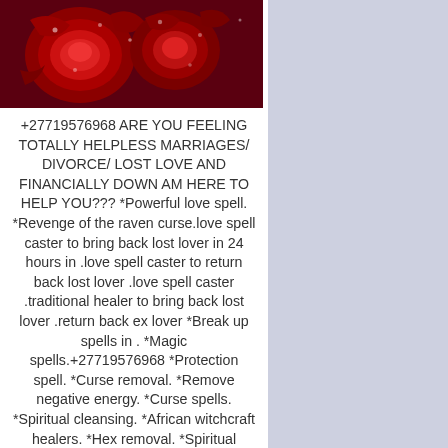[Figure (photo): Red roses with water droplets, dark red/crimson colored flowers]
+27719576968 ARE YOU FEELING TOTALLY HELPLESS MARRIAGES/ DIVORCE/ LOST LOVE AND FINANCIALLY DOWN AM HERE TO HELP YOU??? *Powerful love spell. *Revenge of the raven curse.love spell caster to bring back lost lover in 24 hours in .love spell caster to return back lost lover .love spell caster .traditional healer to bring back lost lover .return back ex lover *Break up spells in . *Magic spells.+27719576968 *Protection spell. *Curse removal. *Remove negative energy. *Curse spells. *Spiritual cleansing. *African witchcraft healers. *Hex removal. *Spiritual healing spell. *Wicca witch craft. *Good luck charm. *Break up spells. *Magic spells. *S...